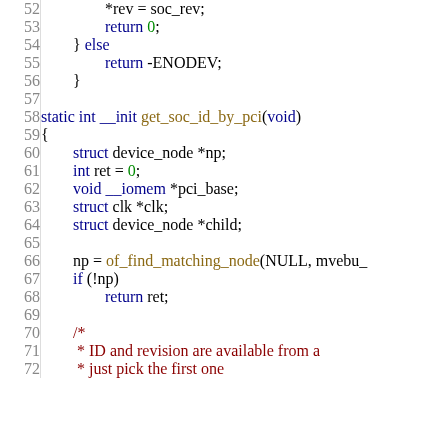Source code listing, lines 52–72, C programming language showing get_soc_id_by_pci function